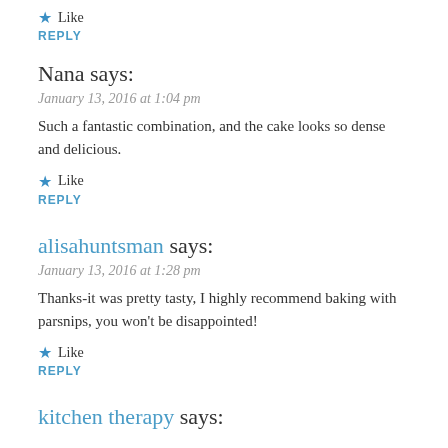★ Like
REPLY
Nana says:
January 13, 2016 at 1:04 pm
Such a fantastic combination, and the cake looks so dense and delicious.
★ Like
REPLY
alisahuntsman says:
January 13, 2016 at 1:28 pm
Thanks-it was pretty tasty, I highly recommend baking with parsnips, you won't be disappointed!
★ Like
REPLY
kitchen therapy says: